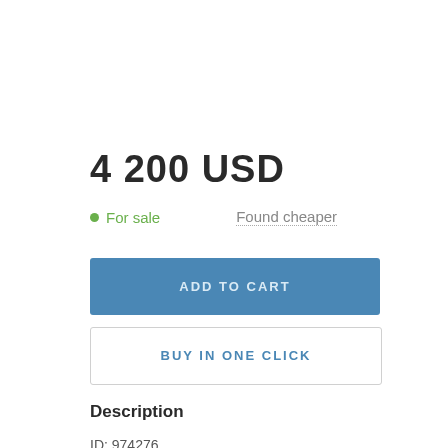4 200 USD
• For sale   Found cheaper
ADD TO CART
BUY IN ONE CLICK
Description
ID: 974276
Artist: Braginskiy Arthur